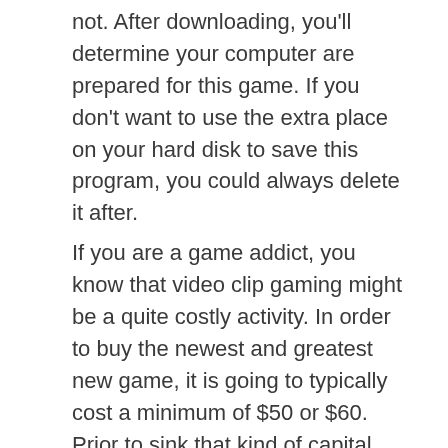not. After downloading, you'll determine your computer are prepared for this game. If you don't want to use the extra place on your hard disk to save this program, you could always delete it after. If you are a game addict, you know that video clip gaming might be a quite costly activity. In order to buy the newest and greatest new game, it is going to typically cost a minimum of $50 or $60. Prior to sink that kind of capital within a new online game, do your homework and check out many reviews on this new game. Make sure it can be one who gives you countless hours of satisfaction prior to buying it. Don't be scared to get rid of. It is normal to wish to experience against adversaries who definitely are at or below your capability. All things considered, it's no enjoyable to consistently drop! There exists, even so, an important disadvantage to this plan - there is no